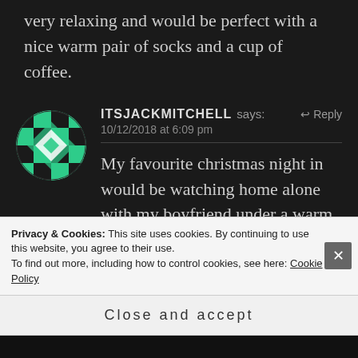very relaxing and would be perfect with a nice warm pair of socks and a cup of coffee.
[Figure (illustration): Circular avatar with teal/green and white checkerboard/diamond quilt pattern on dark background]
ITSJACKMITCHELL says: ↩ Reply
10/12/2018 at 6:09 pm
My favourite christmas night in would be watching home alone with my boyfriend under a warm blanket, with a
Privacy & Cookies: This site uses cookies. By continuing to use this website, you agree to their use.
To find out more, including how to control cookies, see here: Cookie Policy
Close and accept